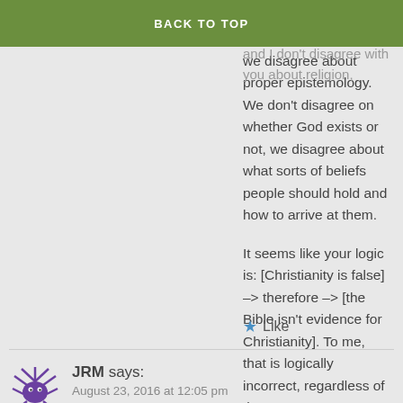BACK TO TOP
notabilia, do you understand that Rowan and I don't disagree with you about religion, we disagree about proper epistemology. We don't disagree on whether God exists or not, we disagree about what sorts of beliefs people should hold and how to arrive at them.
It seems like your logic is: [Christianity is false] -> therefore -> [the Bible isn't evidence for Christianity]. To me, that is logically incorrect, regardless of the content.
★ Like
JRM says:
August 23, 2016 at 12:05 pm